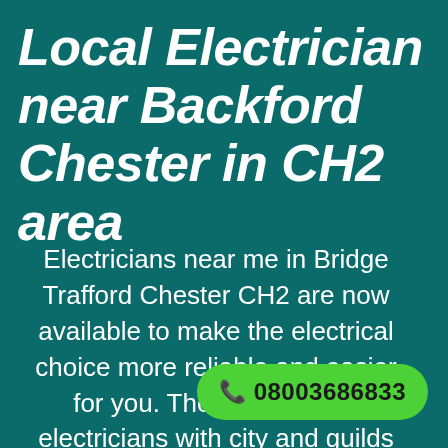Local Electrician near Backford Chester in CH2 area
Electricians near me in Bridge Trafford Chester CH2 are now available to make the electrical choice more reliable and easier for you. The professional electricians with city and guilds certification. Who are best in resolving domestic and commercial disputes. What are you
08003686833